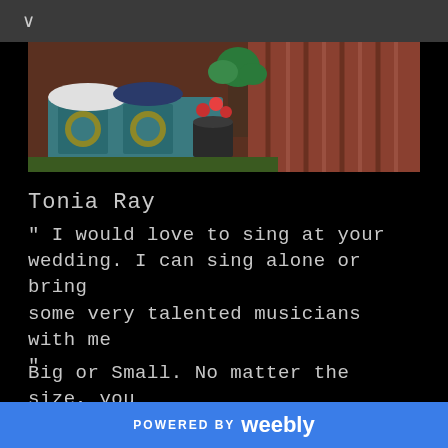[Figure (photo): Decorative outdoor scene with a painted blue chest/trunk with yellow medallions, plants, flowers in pots, and a red/brown corrugated metal wall in the background]
Tonia Ray
" I would love to sing at your wedding. I can sing alone or bring some very talented musicians with me "
Big or Small. No matter the size, you are sure to be provided with a very
POWERED BY weebly